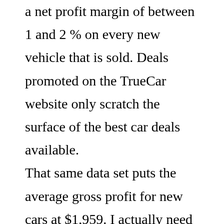a net profit margin of between 1 and 2 % on every new vehicle that is sold. Deals promoted on the TrueCar website only scratch the surface of the best car deals available.

That same data set puts the average gross profit for new cars at $1,959. I actually need a vehicle quite urgently (obviously I dont want the dealer to know that). Examples of acceptable gifts include a wall calendar, Motorcraft apparel, gas card, an oil change, a